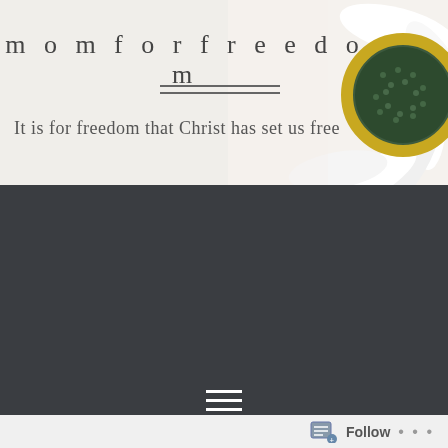[Figure (photo): White daisy/sunflower macro photo in top-right corner of header banner]
momforfreedom
It is for freedom that Christ has set us free
[Figure (other): Hamburger menu icon (three horizontal white lines) on dark background]
TAG: JOHN GOTTMAN
DONE WITH SCHOOL? TIME TO GET EDUCATED!
Follow ...